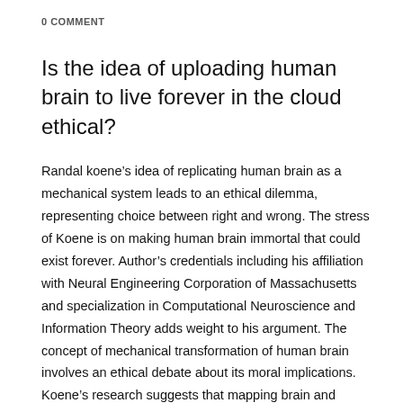0 COMMENT
Is the idea of uploading human brain to live forever in the cloud ethical?
Randal koene’s idea of replicating human brain as a mechanical system leads to an ethical dilemma, representing choice between right and wrong. The stress of Koene is on making human brain immortal that could exist forever. Author’s credentials including his affiliation with Neural Engineering Corporation of Massachusetts and specialization in Computational Neuroscience and Information Theory adds weight to his argument. The concept of mechanical transformation of human brain involves an ethical debate about its moral implications. Koene’s research suggests that mapping brain and reducing its involvement in computation activities will allow humans to live indefinitely. The possible adoption of Koene's idea will influence the society and produce repercussions. His focuses not only on artificial intelligence but also on downloading of a human brain to a